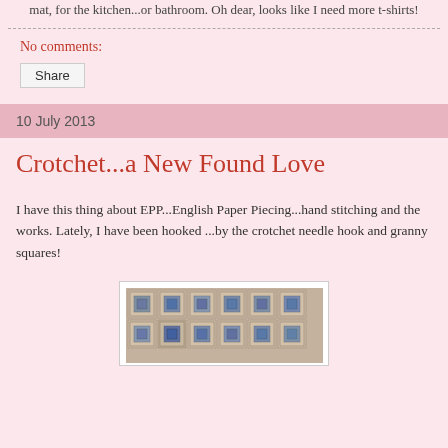mat, for the kitchen...or bathroom. Oh dear, looks like I need more t-shirts!
No comments:
Share
10 July 2013
Crotchet...a New Found Love
I have this thing about EPP...English Paper Piecing...hand stitching and the works. Lately, I have been hooked ...by the crotchet needle hook and granny squares!
[Figure (photo): Photo of crocheted granny squares laid out in a grid pattern, showing a patchwork of beige and blue-grey squares]